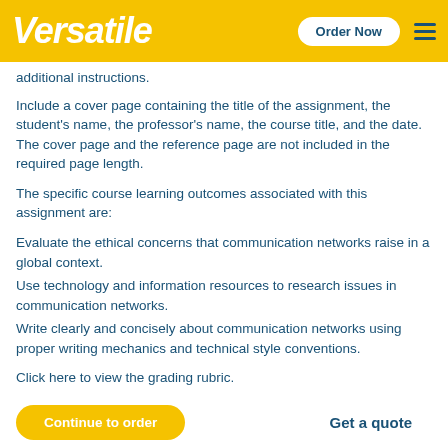Versatile | Order Now
additional instructions.
Include a cover page containing the title of the assignment, the student's name, the professor's name, the course title, and the date. The cover page and the reference page are not included in the required page length.
The specific course learning outcomes associated with this assignment are:
Evaluate the ethical concerns that communication networks raise in a global context.
Use technology and information resources to research issues in communication networks.
Write clearly and concisely about communication networks using proper writing mechanics and technical style conventions.
Click here to view the grading rubric.
Continue to order | Get a quote